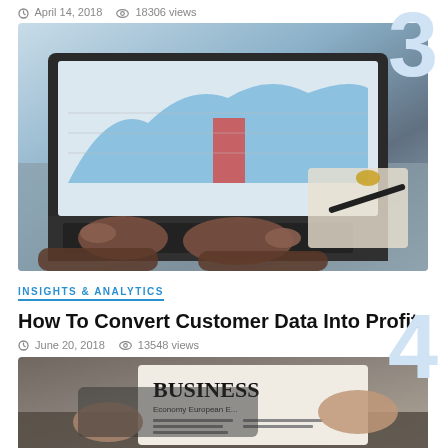April 14, 2018   18306 views
[Figure (photo): Person's hands typing on a laptop showing a business chart/graph on screen, with a pen and clipboard visible on the desk]
INSIGHTS & ANALYTICS
How To Convert Customer Data Into Profits
June 20, 2018   13548 views
[Figure (photo): Person holding a newspaper/tablet showing BUSINESS headline]